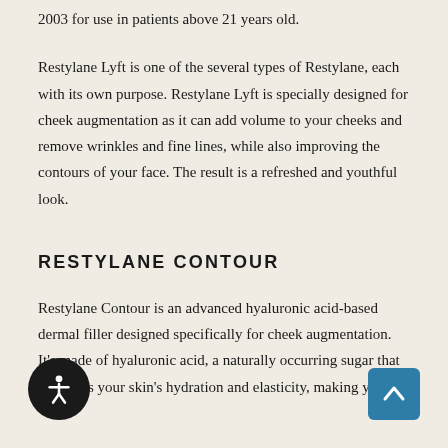2003 for use in patients above 21 years old.
Restylane Lyft is one of the several types of Restylane, each with its own purpose. Restylane Lyft is specially designed for cheek augmentation as it can add volume to your cheeks and remove wrinkles and fine lines, while also improving the contours of your face. The result is a refreshed and youthful look.
RESTYLANE CONTOUR
Restylane Contour is an advanced hyaluronic acid-based dermal filler designed specifically for cheek augmentation. It's made of hyaluronic acid, a naturally occurring sugar that improves your skin's hydration and elasticity, making your